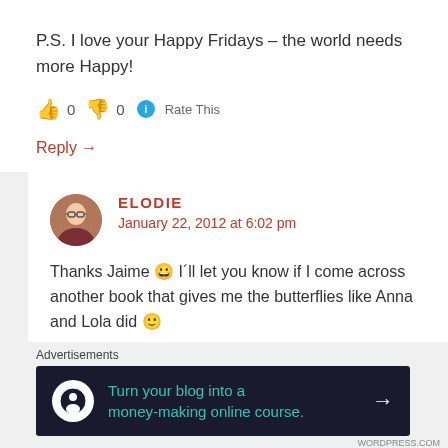P.S. I love your Happy Fridays – the world needs more Happy!
👍 0 👎 0 ℹ Rate This
Reply →
ELODIE
January 22, 2012 at 6:02 pm
Thanks Jaime 😀 I´ll let you know if I come across another book that gives me the butterflies like Anna and Lola did 🙂
Advertisements
[Figure (infographic): Dark advertisement banner: 'Turn your blog into a money-making online course.' with arrow, on black background with teal text and white circular icon]